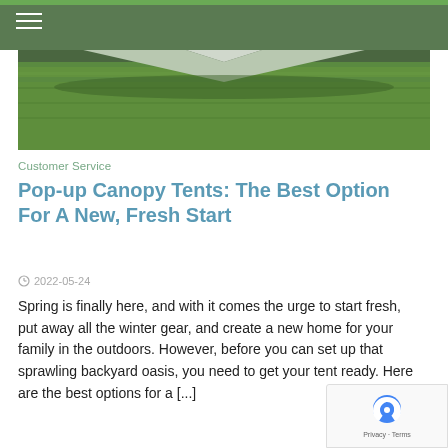[Figure (photo): Aerial or ground-level photo of a green canopy tent roof against grass lawn background]
Customer Service
Pop-up Canopy Tents: The Best Option For A New, Fresh Start
2022-05-24
Spring is finally here, and with it comes the urge to start fresh, put away all the winter gear, and create a new home for your family in the outdoors. However, before you can set up that sprawling backyard oasis, you need to get your tent ready. Here are the best options for a [...]